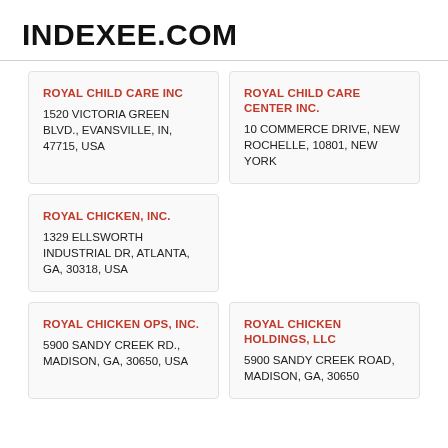INDEXEE.COM
ROYAL CHILD CARE INC
1520 VICTORIA GREEN BLVD., EVANSVILLE, IN, 47715, USA
ROYAL CHILD CARE CENTER INC.
10 COMMERCE DRIVE, NEW ROCHELLE, 10801, NEW YORK
ROYAL CHICKEN, INC.
1329 ELLSWORTH INDUSTRIAL DR, ATLANTA, GA, 30318, USA
ROYAL CHICKEN OPS, INC.
5900 SANDY CREEK RD., MADISON, GA, 30650, USA
Royal Chicken Holdings, LLC
5900 SANDY CREEK ROAD, MADISON, GA, 30650